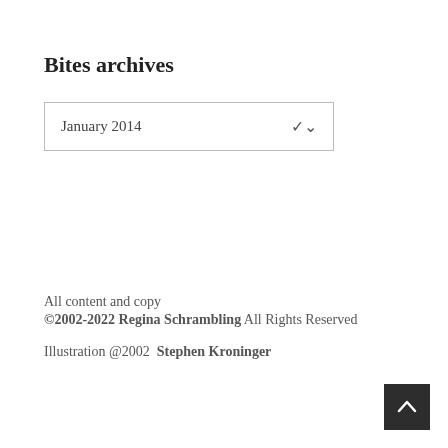Bites archives
January 2014
All content and copy
©2002-2022 Regina Schrambling All Rights Reserved

Illustration @2002  Stephen Kroninger